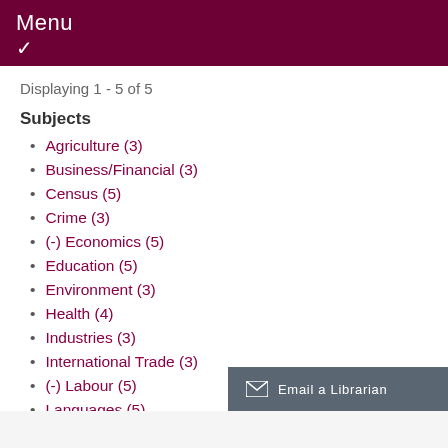Menu ∨
Displaying 1 - 5 of 5
Subjects
Agriculture (3)
Business/Financial (3)
Census (5)
Crime (3)
(-) Economics (5)
Education (5)
Environment (3)
Health (4)
Industries (3)
International Trade (3)
(-) Labour (5)
Languages (5)
Political Science (4)
Email a Librarian